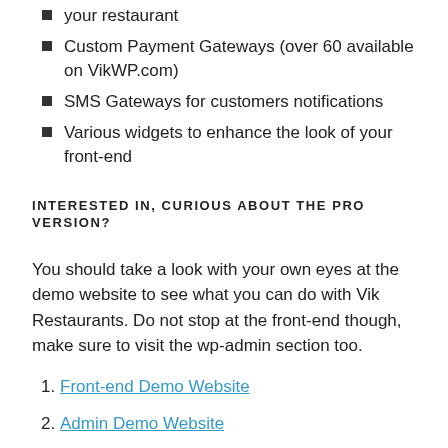Private area in the front-end for the operators of your restaurant
Custom Payment Gateways (over 60 available on VikWP.com)
SMS Gateways for customers notifications
Various widgets to enhance the look of your front-end
INTERESTED IN, CURIOUS ABOUT THE PRO VERSION?
You should take a look with your own eyes at the demo website to see what you can do with Vik Restaurants. Do not stop at the front-end though, make sure to visit the wp-admin section too.
Front-end Demo Website
Admin Demo Website
Screenshots